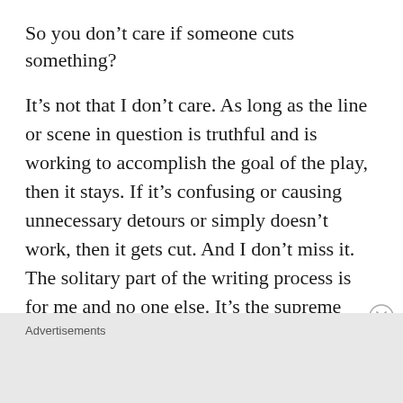So you don’t care if someone cuts something?
It’s not that I don’t care. As long as the line or scene in question is truthful and is working to accomplish the goal of the play, then it stays. If it’s confusing or causing unnecessary detours or simply doesn’t work, then it gets cut. And I don’t miss it. The solitary part of the writing process is for me and no one else. It’s the supreme self-indulgence that art demands. But the second that I drop the script in someone’s inbox or
Advertisements